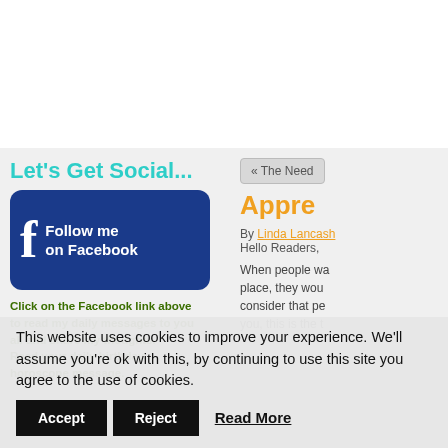Let's Get Social...
[Figure (logo): Facebook 'Follow me on Facebook' button with white Facebook 'f' logo on dark blue rounded rectangle background]
Click on the Facebook link above to read my daily messages to you all and share my thoughts. Read your daily birthday horoscope message.
« The Need
Appre
By Linda Lancash Hello Readers,
When people wa place, they wou consider that pe you, this is the t
This website uses cookies to improve your experience. We'll assume you're ok with this, by continuing to use this site you agree to the use of cookies.